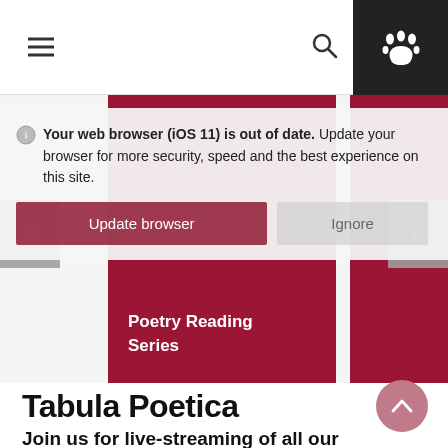Navigation bar with hamburger menu, search icon, and paw icon
Your web browser (iOS 11) is out of date. Update your browser for more security, speed and the best experience on this site.
Update browser | Ignore
[Figure (screenshot): Website screenshot showing a university page with a dark red carousel card labeled 'Poetry Reading Series', with left and right carousel navigation arrows, and a browser update warning overlay.]
Tabula Poetica
Join us for live-streaming of all our